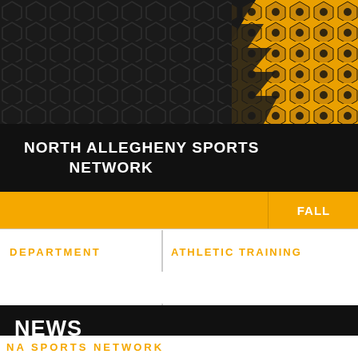[Figure (other): Dark hexagonal mesh background with yellow/golden honeycomb pattern in the top-right corner, forming the hero banner of North Allegheny Sports Network website]
NORTH ALLEGHENY SPORTS NETWORK
FALL
WINTER
DEPARTMENT
ATHLETIC TRAINING
NEWS